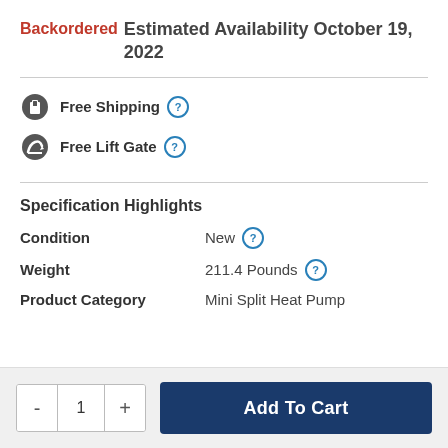Backordered  Estimated Availability October 19, 2022
Free Shipping
Free Lift Gate
Specification Highlights
| Attribute | Value |
| --- | --- |
| Condition | New |
| Weight | 211.4 Pounds |
| Product Category | Mini Split Heat Pump |
- 1 + Add To Cart